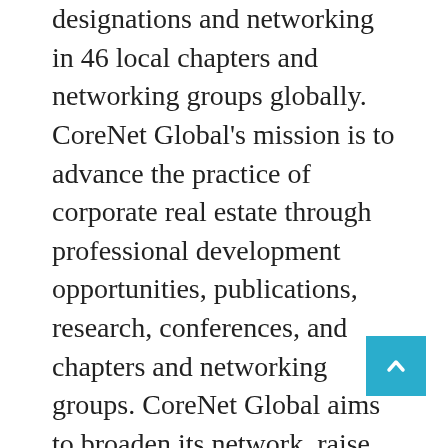designations and networking in 46 local chapters and networking groups globally. CoreNet Global's mission is to advance the practice of corporate real estate through professional development opportunities, publications, research, conferences, and chapters and networking groups. CoreNet Global aims to broaden its network, raise the profile of corporate real estate, serve as the profession's voice and thought leader and champion the profession's development and maturity. Every year, Corenet Global invites students from around the world to think creatively about a problem facing real estate professionals for renowned companies like Google, Duke Energy, AstraZeneca,